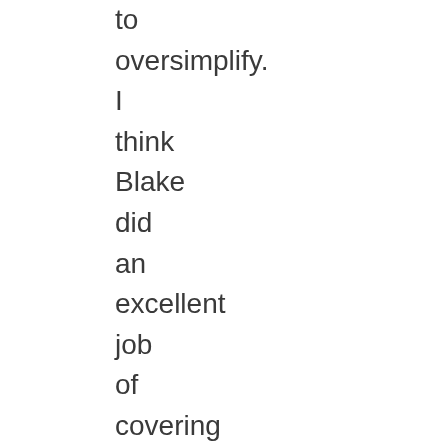to oversimplify. I think Blake did an excellent job of covering this issue in the book and I posted on this chapter some time ago.

Blake